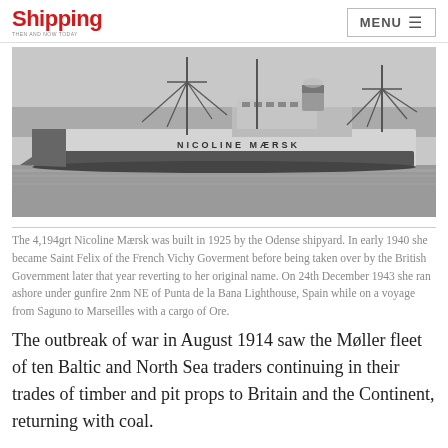Shipping | MENU
[Figure (photo): Black and white photograph of the cargo ship Nicoline Maersk on water, showing the vessel's profile with cranes and masts visible, with 'NICOLINE MAERSK' text visible on the hull.]
The 4,194grt Nicoline Mærsk was built in 1925 by the Odense shipyard. In early 1940 she became Saint Felix of the French Vichy Goverment before being taken over by the British Government later that year reverting to her original name. On 24th December 1943 she ran ashore under gunfire 2nm NE of Punta de la Bana Lighthouse, Spain while on a voyage from Saguno to Marseilles with a cargo of Ore.
The outbreak of war in August 1914 saw the Møller fleet of ten Baltic and North Sea traders continuing in their trades of timber and pit props to Britain and the Continent, returning with coal.